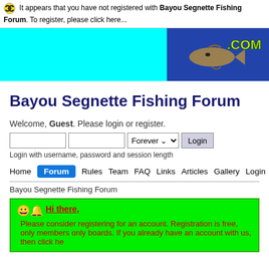It appears that you have not registered with Bayou Segnette Fishing Forum. To register, please click here...
[Figure (screenshot): Cyan banner with fish photo on the right showing a bass fish with '.COM' text on blue background]
Bayou Segnette Fishing Forum
Welcome, Guest. Please login or register.
Login with username, password and session length
Home  Forum  Rules  Team  FAQ  Links  Articles  Gallery  Login  Regis...
Bayou Segnette Fishing Forum
Hi there, Please consider registering for an account. Registration is free, only members only boards. If you already have an account with us, then click he...